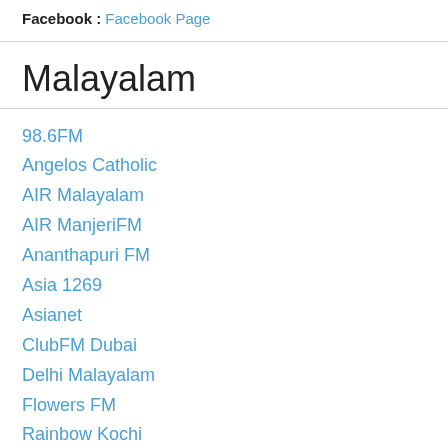Facebook : Facebook Page
Malayalam
98.6FM
Angelos Catholic
AIR Malayalam
AIR ManjeriFM
Ananthapuri FM
Asia 1269
Asianet
ClubFM Dubai
Delhi Malayalam
Flowers FM
Rainbow Kochi
Global 94 Somees